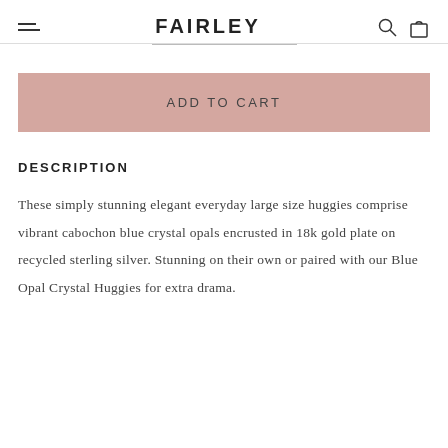FAIRLEY
ADD TO CART
DESCRIPTION
These simply stunning elegant everyday large size huggies comprise vibrant cabochon blue crystal opals encrusted in 18k gold plate on recycled sterling silver. Stunning on their own or paired with our Blue Opal Crystal Huggies for extra drama.